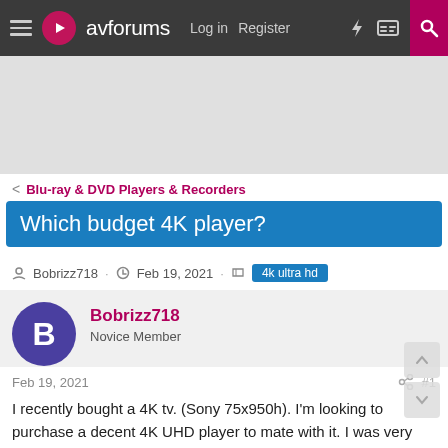avforums | Log in | Register
[Figure (other): Advertisement banner area (gray placeholder)]
< Blu-ray & DVD Players & Recorders
Which budget 4K player?
Bobrizz718 · Feb 19, 2021 · 4k ultra hd
Bobrizz718
Novice Member
Feb 19, 2021  #1
I recently bought a 4K tv. (Sony 75x950h). I'm looking to purchase a decent 4K UHD player to mate with it. I was very surprised at the dearth of choices that are currently available. I